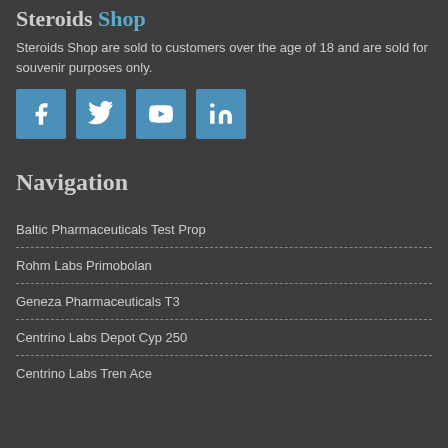Steroids Shop
Steroids Shop are sold to customers over the age of 18 and are sold for souvenir purposes only.
[Figure (infographic): Four social media icon buttons: Facebook, Twitter, YouTube, LinkedIn]
Navigation
Baltic Pharmaceuticals Test Prop
Rohm Labs Primobolan
Geneza Pharmaceuticals T3
Centrino Labs Depot Cyp 250
Centrino Labs Tren Ace